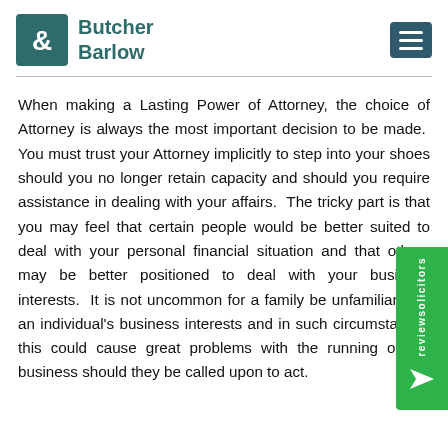Butcher Barlow
When making a Lasting Power of Attorney, the choice of Attorney is always the most important decision to be made.  You must trust your Attorney implicitly to step into your shoes should you no longer retain capacity and should you require assistance in dealing with your affairs.  The tricky part is that you may feel that certain people would be better suited to deal with your personal financial situation and that others may be better positioned to deal with your business interests.  It is not uncommon for a family be unfamiliar with an individual's business interests and in such circumstances this could cause great problems with the running of the business should they be called upon to act.